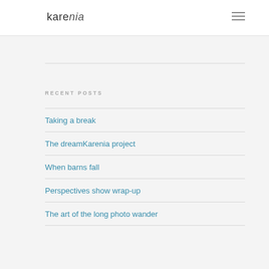karenia
RECENT POSTS
Taking a break
The dreamKarenia project
When barns fall
Perspectives show wrap-up
The art of the long photo wander